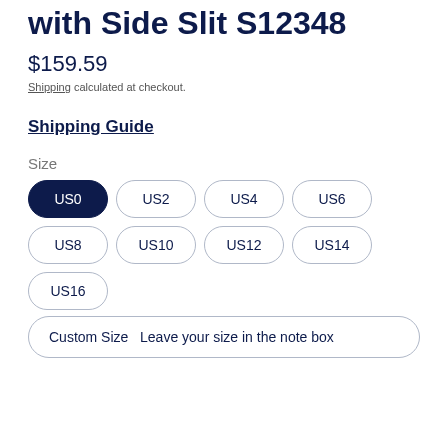with Side Slit S12348
$159.59
Shipping calculated at checkout.
Shipping Guide
Size
US0
US2
US4
US6
US8
US10
US12
US14
US16
Custom Size  Leave your size in the note box